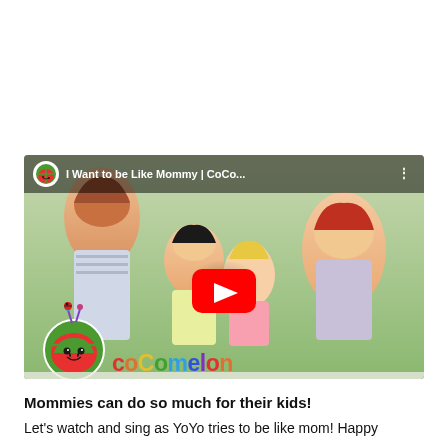[Figure (screenshot): YouTube video thumbnail for 'I Want to be Like Mommy | CoCo...' from CoComelon channel. Shows animated characters including a mom and children from the CoComelon cartoon series, with the CoComelon watermelon logo and colorful 'cocomelon' text at the bottom. A red YouTube play button is overlaid in the center.]
Mommies can do so much for their kids!
Let's watch and sing as YoYo tries to be like mom! Happy